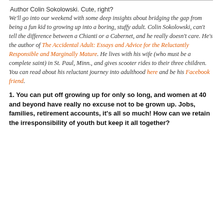Author Colin Sokolowski. Cute, right?
We'll go into our weekend with some deep insights about bridging the gap from being a fun kid to growing up into a boring, stuffy adult. Colin Sokolowski, can't tell the difference between a Chianti or a Cabernet, and he really doesn't care. He's the author of The Accidental Adult: Essays and Advice for the Reluctantly Responsible and Marginally Mature. He lives with his wife (who must be a complete saint) in St. Paul, Minn., and gives scooter rides to their three children. You can read about his reluctant journey into adulthood here and be his Facebook friend.
1. You can put off growing up for only so long, and women at 40 and beyond have really no excuse not to be grown up. Jobs, families, retirement accounts, it's all so much! How can we retain the irresponsibility of youth but keep it all together?